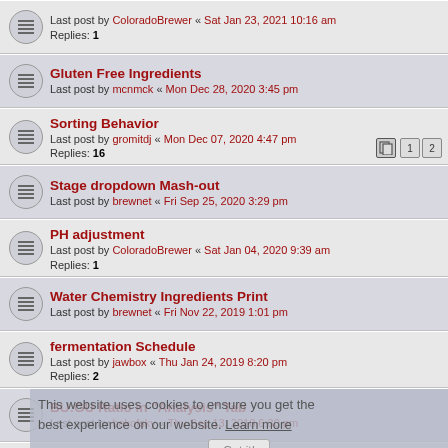Last post by ColoradoBrewer « Sat Jan 23, 2021 10:16 am
Replies: 1
Gluten Free Ingredients
Last post by mcnmck « Mon Dec 28, 2020 3:45 pm
Sorting Behavior
Last post by gromitdj « Mon Dec 07, 2020 4:47 pm
Replies: 16
Stage dropdown Mash-out
Last post by brewnet « Fri Sep 25, 2020 3:29 pm
PH adjustment
Last post by ColoradoBrewer « Sat Jan 04, 2020 9:39 am
Replies: 1
Water Chemistry Ingredients Print
Last post by brewnet « Fri Nov 22, 2019 1:01 pm
fermentation Schedule
Last post by jawbox « Thu Jan 24, 2019 8:20 pm
Replies: 2
BU:GU Ratio in "Analysis" Tab
Last post by bakofsky « Thu Sep 13, 2018 6:30 pm
Boil Duration & Evaporation
Last post by jeff « Tue Mar 06, 2018 11:12 am
Replies: 1
Replication of "On My Computer" to "Online"
Last post by ChickenSoop « Sat Oct 21, 2017 8:58 am
Replies: 1